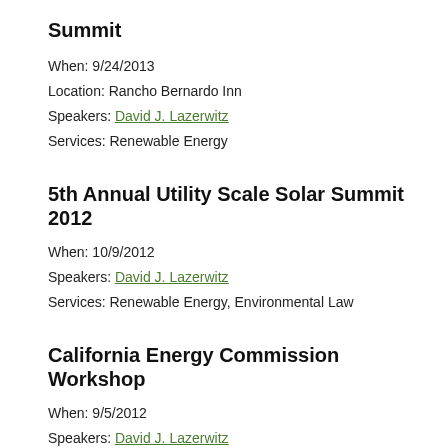Summit
When:  9/24/2013
Location:  Rancho Bernardo Inn
Speakers:  David J. Lazerwitz
Services:  Renewable Energy
5th Annual Utility Scale Solar Summit 2012
When:  10/9/2012
Speakers:  David J. Lazerwitz
Services:  Renewable Energy, Environmental Law
California Energy Commission Workshop
When:  9/5/2012
Speakers:  David J. Lazerwitz